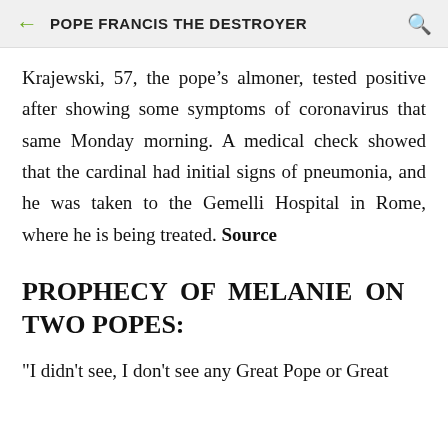POPE FRANCIS THE DESTROYER
Krajewski, 57, the pope’s almoner, tested positive after showing some symptoms of coronavirus that same Monday morning. A medical check showed that the cardinal had initial signs of pneumonia, and he was taken to the Gemelli Hospital in Rome, where he is being treated. Source
PROPHECY OF MELANIE ON TWO POPES:
"I didn't see, I don't see any Great Pope or Great